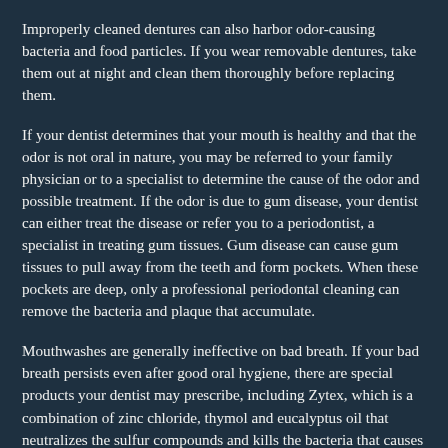Improperly cleaned dentures can also harbor odor-causing bacteria and food particles. If you wear removable dentures, take them out at night and clean them thoroughly before replacing them.
If your dentist determines that your mouth is healthy and that the odor is not oral in nature, you may be referred to your family physician or to a specialist to determine the cause of the odor and possible treatment. If the odor is due to gum disease, your dentist can either treat the disease or refer you to a periodontist, a specialist in treating gum tissues. Gum disease can cause gum tissues to pull away from the teeth and form pockets. When these pockets are deep, only a professional periodontal cleaning can remove the bacteria and plaque that accumulate.
Mouthwashes are generally ineffective on bad breath. If your bad breath persists even after good oral hygiene, there are special products your dentist may prescribe, including Zytex, which is a combination of zinc chloride, thymol and eucalyptus oil that neutralizes the sulfur compounds and kills the bacteria that causes them. In addition, a special antimicrobial mouth rinse may be prescribed. An example is chlorhexidine, but be careful not to